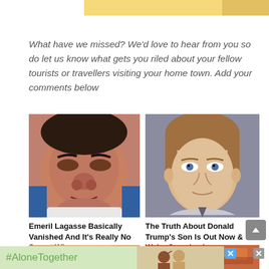[Figure (other): Advertisement banner at top of page, yellow/golden background]
What have we missed? We'd love to hear from you so do let us know what gets you riled about your fellow tourists or travellers visiting your home town. Add your comments below
[Figure (photo): Photo of Emeril Lagasse, close-up face portrait]
[Figure (photo): Photo of a young boy (Donald Trump's son), close-up face portrait]
Emeril Lagasse Basically Vanished And It's Really No Secret Why
The Truth About Donald Trump's Son Is Out Now & We're Surprised
[Figure (photo): Partial photo of food item at bottom left]
[Figure (photo): Partial photo of pasta/tomato dish at bottom right]
[Figure (screenshot): #AloneTogether advertisement banner at bottom of page, light green background]